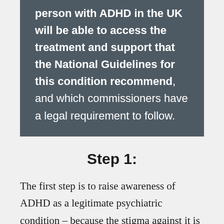person with ADHD in the UK will be able to access the treatment and support that the National Guidelines for this condition recommend, and which commissioners have a legal requirement to follow.
Step 1:
The first step is to raise awareness of ADHD as a legitimate psychiatric condition – because the stigma against it is still so entrenched that it's even being perpetuated by educational and